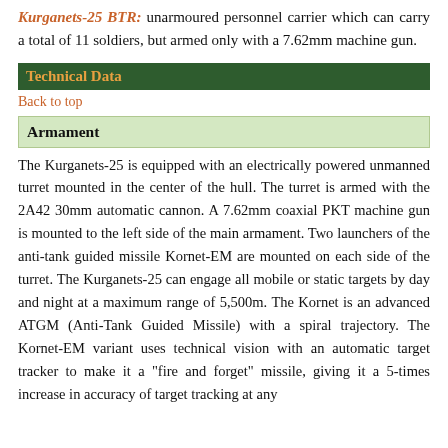Kurganets-25 BTR: unarmoured personnel carrier which can carry a total of 11 soldiers, but armed only with a 7.62mm machine gun.
Technical Data
Back to top
Armament
The Kurganets-25 is equipped with an electrically powered unmanned turret mounted in the center of the hull. The turret is armed with the 2A42 30mm automatic cannon. A 7.62mm coaxial PKT machine gun is mounted to the left side of the main armament. Two launchers of the anti-tank guided missile Kornet-EM are mounted on each side of the turret. The Kurganets-25 can engage all mobile or static targets by day and night at a maximum range of 5,500m. The Kornet is an advanced ATGM (Anti-Tank Guided Missile) with a spiral trajectory. The Kornet-EM variant uses technical vision with an automatic target tracker to make it a "fire and forget" missile, giving it a 5-times increase in accuracy of target tracking at any